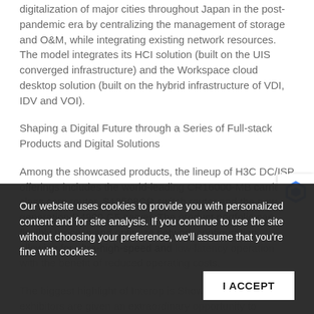digitalization of major cities throughout Japan in the post-pandemic era by centralizing the management of storage and O&M, while integrating existing network resources. The model integrates its HCI solution (built on the UIS converged infrastructure) and the Workspace cloud desktop solution (built on the hybrid infrastructure of VDI, IDV and VOI).
Shaping a Digital Future through a Series of Full-stack Products and Digital Solutions
Among the showcased products, the lineup of H3C DC/ISP offerings includes the world-leading CR16000-MB carrier-class core router, S12508CR switch router and the new-generation R4900 G5 server. The product portfolio can flexibly process and optimize network configuration, allowing for ultra-high-speed and low-latency operation with the benefit of reduced operating costs.
The biggest highlight of Interop is ShowNet, where exhibitors are given an extraordinary opportunity to showcase their latest products and solutions by creating a booth network. This year, H3C partnered with Cisco plus...
Our website uses cookies to provide you with personalized content and for site analysis. If you continue to use the site without choosing your preference, we'll assume that you're fine with cookies.